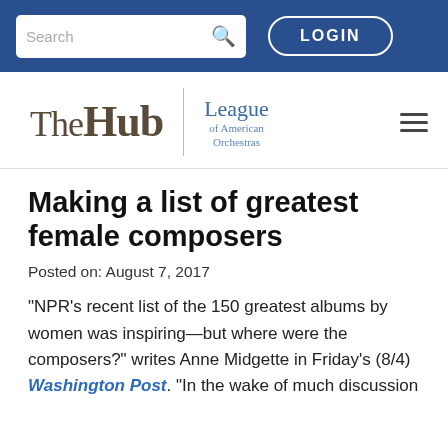Search | LOGIN
[Figure (logo): The Hub | League of American Orchestras logo with hamburger menu]
Making a list of greatest female composers
Posted on: August 7, 2017
“NPR’s recent list of the 150 greatest albums by women was inspiring—but where were the composers?” writes Anne Midgette in Friday’s (8/4) Washington Post. “In the wake of much discussion